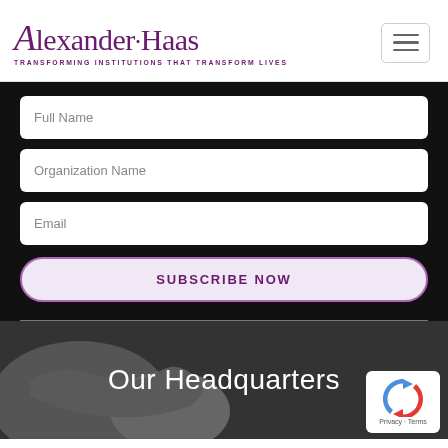[Figure (logo): Alexander Haas logo with italic script A, text 'Alexander·Haas' in purple serif font, tagline 'TRANSFORMING INSTITUTIONS THAT TRANSFORM LIVES' below]
[Figure (other): Hamburger menu icon — three horizontal lines in a rounded rectangle border]
Full Name
Organization Name
Email
SUBSCRIBE NOW
Our Headquarters
[Figure (other): reCAPTCHA badge with blue and red arrow icon and 'Privacy · Terms' text]